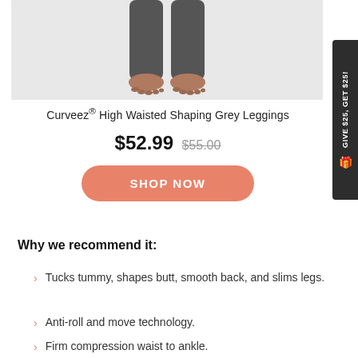[Figure (photo): Cropped photo showing the lower body of a person wearing dark grey high-waisted leggings, standing barefoot on a white background.]
Curveez® High Waisted Shaping Grey Leggings
$52.99 $55.00
SHOP NOW
Why we recommend it:
Tucks tummy, shapes butt, smooth back, and slims legs.
Anti-roll and move technology.
Firm compression waist to ankle.